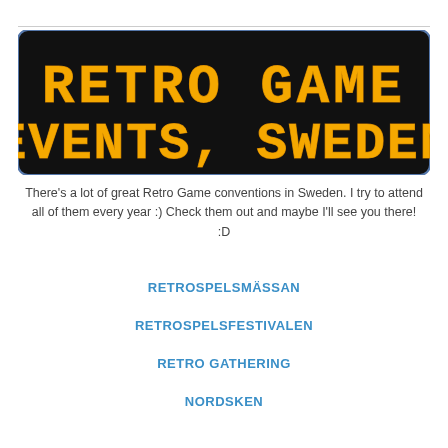[Figure (illustration): Retro-style LED/dot-matrix display banner on a dark/black background with rounded corners. Text reads 'RETRO GAME EVENTS, SWEDEN' in bright orange pixel/dot-matrix font.]
There's a lot of great Retro Game conventions in Sweden. I try to attend all of them every year :) Check them out and maybe I'll see you there! :D
RETROSPELSMÄSSAN
RETROSPELSFESTIVALEN
RETRO GATHERING
NORDSKEN